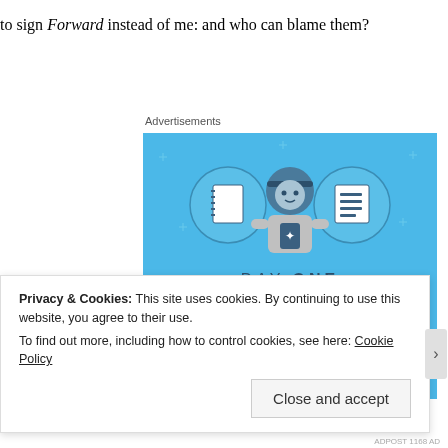to sign Forward instead of me: and who can blame them?
Advertisements
[Figure (illustration): Day One app advertisement on blue background. Shows a cartoon person holding a phone with a notebook icon on the left and a list icon on the right. Text reads 'DAY ONE - The only journaling app you'll ever need.' with a 'Get the app' button.]
Privacy & Cookies: This site uses cookies. By continuing to use this website, you agree to their use.
To find out more, including how to control cookies, see here: Cookie Policy
Close and accept